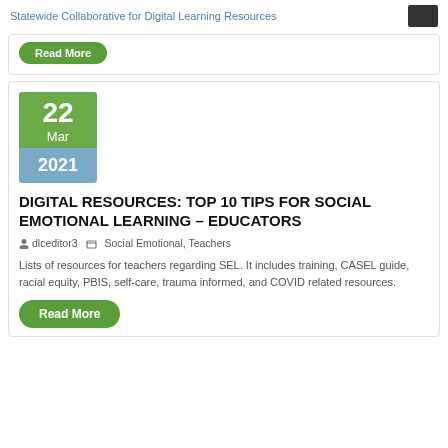Statewide Collaborative for Digital Learning Resources
Read More
[Figure (other): Date badge showing 22 Mar 2021 with green top section and blue bottom section]
DIGITAL RESOURCES: TOP 10 TIPS FOR SOCIAL EMOTIONAL LEARNING – EDUCATORS
dlceditor3  Social Emotional, Teachers
Lists of resources for teachers regarding SEL. It includes training, CASEL guide, racial equity, PBIS, self-care, trauma informed, and COVID related resources.
Read More